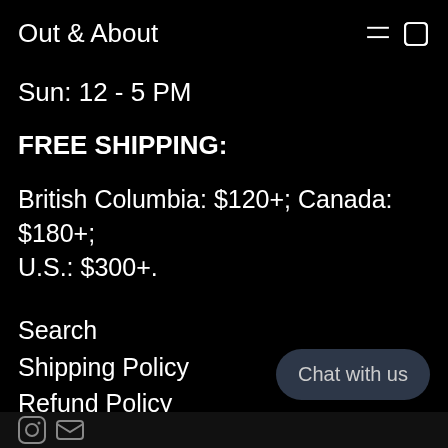Out & About
Sun: 12 - 5 PM
FREE SHIPPING:
British Columbia: $120+; Canada: $180+; U.S.: $300+.
Search
Shipping Policy
Refund Policy
Terms of Service
Chat with us